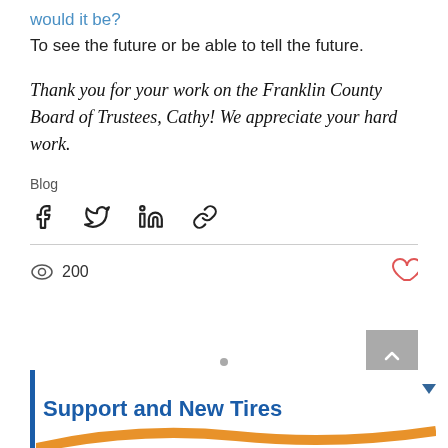would it be?
To see the future or be able to tell the future.
Thank you for your work on the Franklin County Board of Trustees, Cathy! We appreciate your hard work.
Blog
[Figure (infographic): Social share icons: Facebook, Twitter, LinkedIn, link/copy icon]
200 views, heart/like icon
Recent Posts
See All
[Figure (infographic): Card preview with blue vertical bar on left and bold blue text 'Support and New Tires' with orange swoosh graphic at bottom]